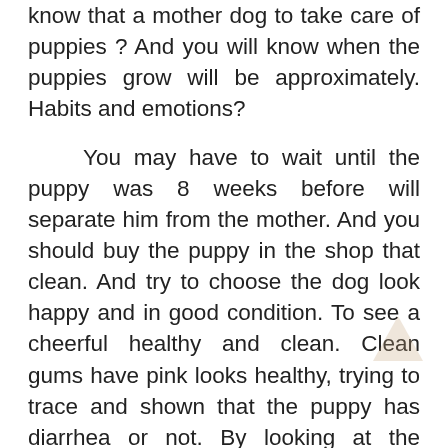know that a mother dog to take care of puppies ? And you will know when the puppies grow will be approximately. Habits and emotions?
You may have to wait until the puppy was 8 weeks before will separate him from the mother. And you should buy the puppy in the shop that clean. And try to choose the dog look happy and in good condition. To see a cheerful healthy and clean. Clean gums have pink looks healthy, trying to trace and shown that the puppy has diarrhea or not. By looking at the southern tail and back.
Puppy fur may be dull, But it must be clean and no wound, see if they have a disability or not. Look at that dog, and turn the stomach swelling or eye disorders, and symptoms of acute move. If a case is suspected. May be asked to take the puppy to the veterinarian to detect abnormalities.